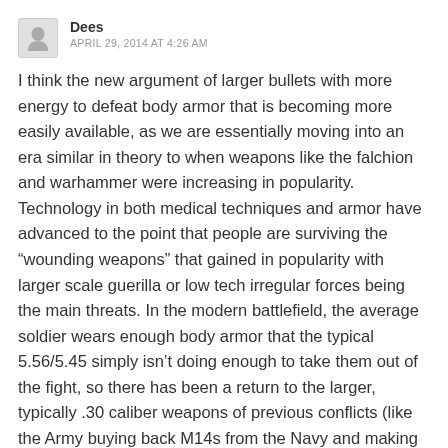Dees
APRIL 29, 2014 AT 4:26 AM
I think the new argument of larger bullets with more energy to defeat body armor that is becoming more easily available, as we are essentially moving into an era similar in theory to when weapons like the falchion and warhammer were increasing in popularity. Technology in both medical techniques and armor have advanced to the point that people are surviving the “wounding weapons” that gained in popularity with larger scale guerilla or low tech irregular forces being the main threats. In the modern battlefield, the average soldier wears enough body armor that the typical 5.56/5.45 simply isn’t doing enough to take them out of the fight, so there has been a return to the larger, typically .30 caliber weapons of previous conflicts (like the Army buying back M14s from the Navy and making DMRs out of them, of soldiers in Afghanistan being more worried about the older .303s that they were encountering than the newer AK variants, because of the